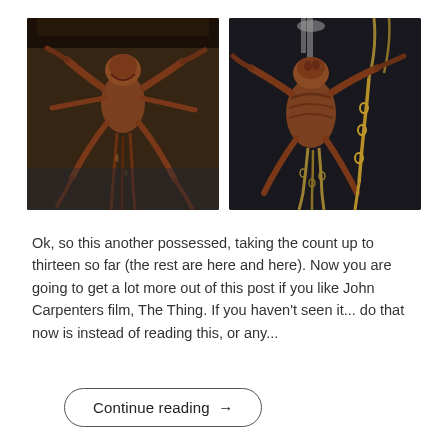[Figure (photo): Two side-by-side photos of creature/monster models or props resembling multi-limbed figures, brownish in color, reminiscent of props from John Carpenter's The Thing.]
Ok, so this another possessed, taking the count up to thirteen so far (the rest are here and here). Now you are going to get a lot more out of this post if you like John Carpenters film, The Thing. If you haven't seen it... do that now is instead of reading this, or any...
Continue reading →